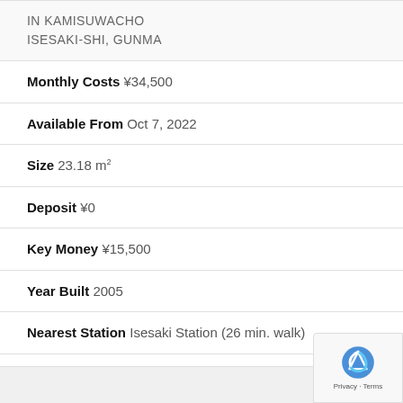IN KAMISUWACHO
ISESAKI-SHI, GUNMA
Monthly Costs ¥34,500
Available From Oct 7, 2022
Size 23.18 m²
Deposit ¥0
Key Money ¥15,500
Year Built 2005
Nearest Station Isesaki Station (26 min. walk)
↓ Shortlist